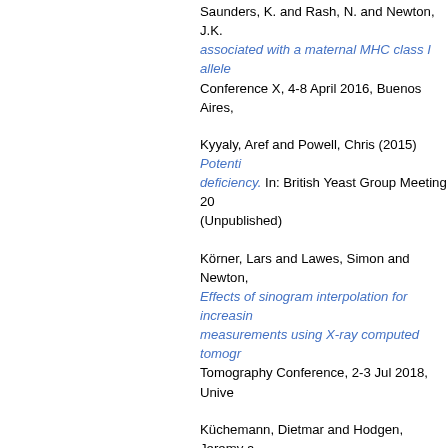Saunders, K. and Rash, N. and Newton, J.K. associated with a maternal MHC class I allele. Conference X, 4-8 April 2016, Buenos Aires,
Kyyaly, Aref and Powell, Chris (2015) Potential deficiency. In: British Yeast Group Meeting 20 (Unpublished)
Körner, Lars and Lawes, Simon and Newton, Effects of sinogram interpolation for increasing measurements using X-ray computed tomogr. Tomography Conference, 2-3 Jul 2018, Unive
Küchemann, Dietmar and Hodgen, Jeremy a double number lines as models of ratio tasks. British Congress of Mathematics Education,
LIU, Qianyu and Kwong, Chiew Foong and S Reinforcement learning based adaptive hand. In: International Symposium on Artificial Intell 2020, Kitakyushu Japan.
LYU, Minjie and Radenkovic, Milena and KES of single cell types during leukemia therapy u. International Conference on Bioinformatics a (South).
La Rocca, A. and Xu, Z. and Arumugam, P. a and Bozhko, S. (2016) Thermal manageme